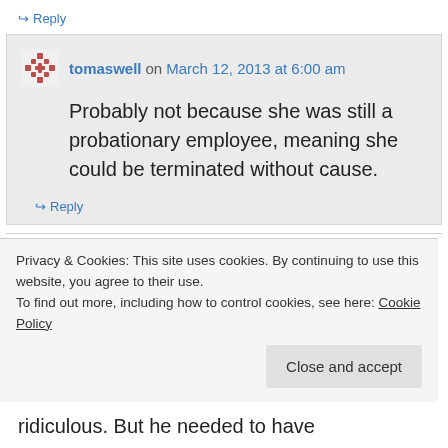↪ Reply
tomaswell on March 12, 2013 at 6:00 am
Probably not because she was still a probationary employee, meaning she could be terminated without cause.
↪ Reply
Privacy & Cookies: This site uses cookies. By continuing to use this website, you agree to their use.
To find out more, including how to control cookies, see here: Cookie Policy
Close and accept
ridiculous. But he needed to have